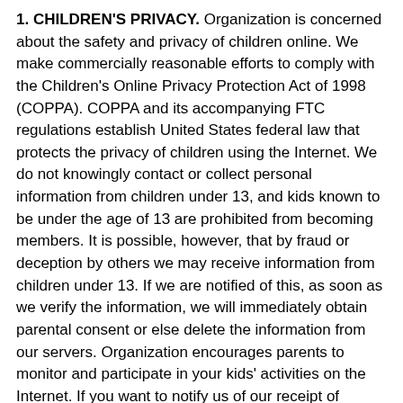1. CHILDREN'S PRIVACY. Organization is concerned about the safety and privacy of children online. We make commercially reasonable efforts to comply with the Children's Online Privacy Protection Act of 1998 (COPPA). COPPA and its accompanying FTC regulations establish United States federal law that protects the privacy of children using the Internet. We do not knowingly contact or collect personal information from children under 13, and kids known to be under the age of 13 are prohibited from becoming members. It is possible, however, that by fraud or deception by others we may receive information from children under 13. If we are notified of this, as soon as we verify the information, we will immediately obtain parental consent or else delete the information from our servers. Organization encourages parents to monitor and participate in your kids' activities on the Internet. If you want to notify us of our receipt of information by children under 13, please do so by e-mailing us.
2. WHAT INFORMATION DO WE COLLECT? The Site has areas and features where you submit and/or where we